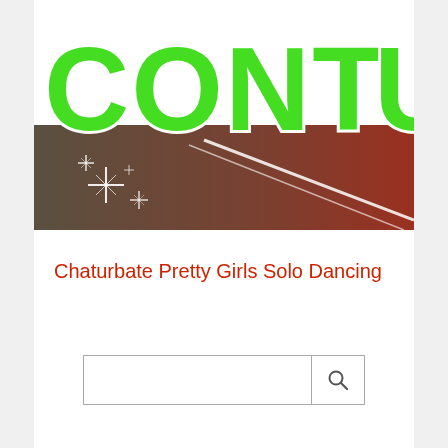[Figure (illustration): Banner image showing large green bold letters 'CONTU' on white background at top, with a dark brownish background below featuring white diagonal lines/roads and sparkle/star glint effects in the lower left area.]
Chaturbate Pretty Girls Solo Dancing
[Figure (other): Search box with a magnifying glass icon button on the right side.]